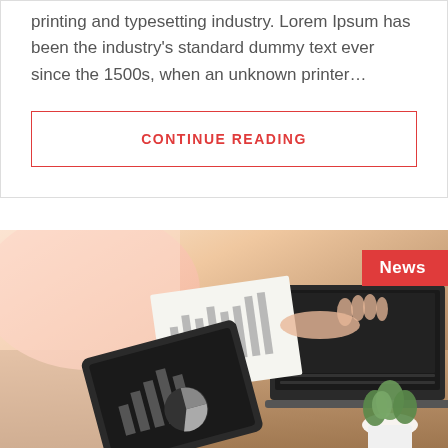printing and typesetting industry. Lorem Ipsum has been the industry's standard dummy text ever since the 1500s, when an unknown printer…
CONTINUE READING
[Figure (photo): Person working at a desk with a laptop, tablet showing charts and graphs, printed financial reports, and a small potted plant. News badge in top right corner.]